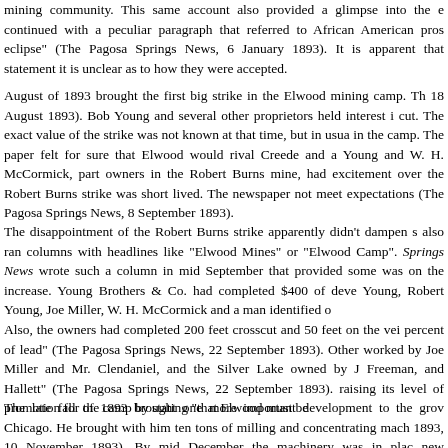mining community.  This same account also provided a glimpse into the e continued with a peculiar paragraph that referred to African American pros eclipse" (The Pagosa Springs News, 6 January 1893).  It is apparent that statement it is unclear as to how they were accepted.
August of 1893 brought the first big strike in the Elwood mining camp.  Th 18 August 1893).  Bob Young and several other proprietors held interest i cut.  The exact value of the strike was not known at that time, but in usua in the camp.  The paper felt for sure that Elwood would rival Creede and a Young and W. H. McCormick, part owners in the Robert Burns mine, had excitement over the Robert Burns strike was short lived.  The newspaper not meet expectations (The Pagosa Springs News, 8 September 1893).
The disappointment of the Robert Burns strike apparently didn't dampen s also ran columns with headlines like "Elwood Mines" or "Elwood Camp". Springs News wrote such a column in mid September that provided some was on the increase.  Young Brothers & Co. had completed $400 of deve Young, Robert Young, Joe Miller, W. H. McCormick and a man identified o
Also, the owners had completed 200 feet crosscut and 50 feet on the vei percent of lead" (The Pagosa Springs News, 22 September 1893).  Other worked by Joe Miller and Mr. Clendaniel, and the Silver Lake owned by J Freeman, and Hallett" (The Pagosa Springs News, 22 September 1893). raising its level of promotion for the camp by stating "that Elwood must be
The late fall of 1893 brought one more important development to the grov Chicago.  He brought with him ten tons of milling and concentrating mach 1893, 10 November 1893).  By mid December the machinery was in plac new development and the completion of the state road that passed throug bring Elwood into prominence.  Capitalists with money and machinery we